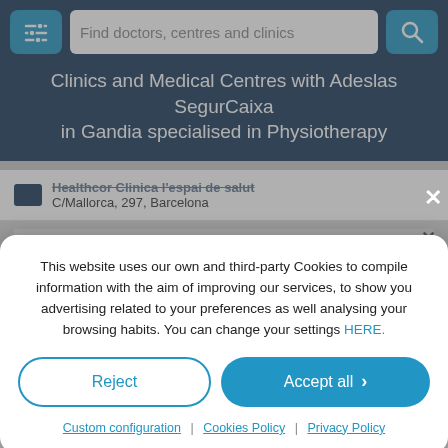Find doctors, centres and clinics
Clinics and Medical Centres with Adeslas SegurCaixa in Gandia specialised in Physiotherapy
Healthcor Clinica l'espai de salut — C/Mallorca, 297, Barcelona
This website uses our own and third-party Cookies to compile information with the aim of improving our services, to show you advertising related to your preferences as well analysing your browsing habits. You can change your settings HERE.
Reject
Accept all
Custom configuration | Cookies Policy | Privacy Policy
Osteopatia y Fisioterapia